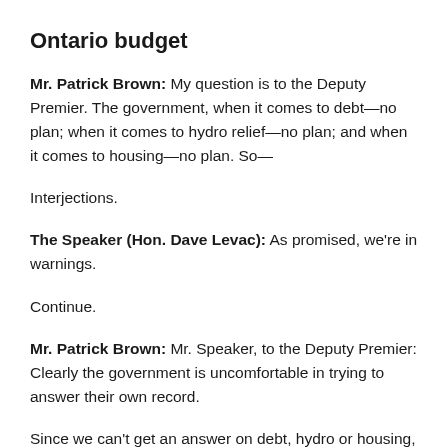Ontario budget
Mr. Patrick Brown: My question is to the Deputy Premier. The government, when it comes to debt—no plan; when it comes to hydro relief—no plan; and when it comes to housing—no plan. So—
Interjections.
The Speaker (Hon. Dave Levac): As promised, we're in warnings.
Continue.
Mr. Patrick Brown: Mr. Speaker, to the Deputy Premier: Clearly the government is uncomfortable in trying to answer their own record.
Since we can't get an answer on debt, hydro or housing, I'm going to ask another question—that needs to be in this budget. The government's current cap-and-trade scheme